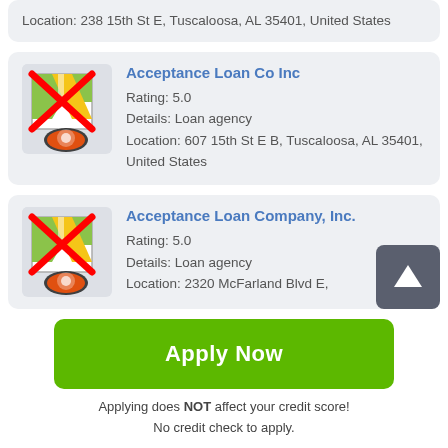Location: 238 15th St E, Tuscaloosa, AL 35401, United States
Acceptance Loan Co Inc
Rating: 5.0
Details: Loan agency
Location: 607 15th St E B, Tuscaloosa, AL 35401, United States
Acceptance Loan Company, Inc.
Rating: 5.0
Details: Loan agency
Location: 2320 McFarland Blvd E,
Apply Now
Applying does NOT affect your credit score!
No credit check to apply.